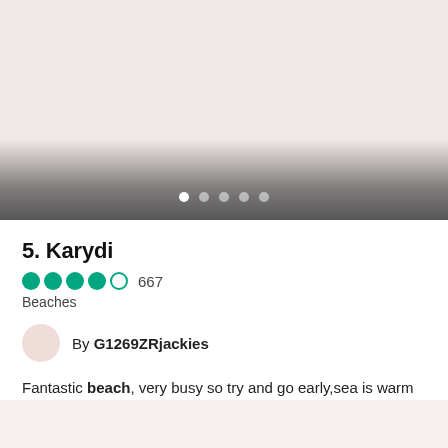[Figure (photo): Image slideshow area with gradient overlay and navigation dots at bottom. Five dots shown, first dot is active/white.]
5. Karydi
667  Beaches
By G1269ZRjackies
Fantastic beach, very busy so try and go early,sea is warm but pebbly, My tip would be to take some swimming shoes, a...